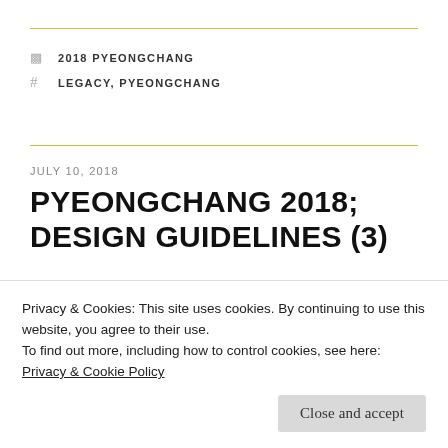2018 PYEONGCHANG
LEGACY, PYEONGCHANG
JULY 10, 2018
PYEONGCHANG 2018; DESIGN GUIDELINES (3)
Privacy & Cookies: This site uses cookies. By continuing to use this website, you agree to their use.
To find out more, including how to control cookies, see here: Privacy & Cookie Policy
Close and accept